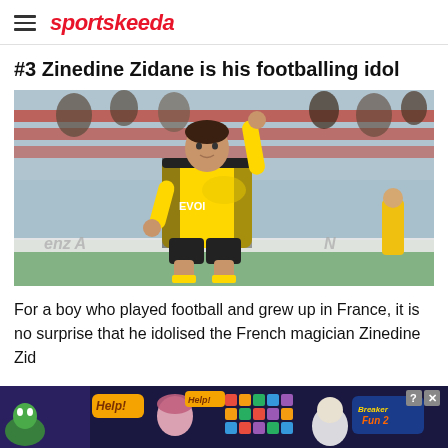sportskeeda
#3 Zinedine Zidane is his footballing idol
[Figure (photo): A football player wearing a yellow and black Borussia Dortmund jersey with EVONI sponsor, pointing upward with one finger, in front of a stadium crowd with red seats.]
For a boy who played football and grew up in France, it is no surprise that he idolised the French magician Zinedine Zidane. The former Real Madrid midfielder is...
[Figure (infographic): Advertisement banner for 'Breaker Fun 2' mobile game showing Help! text, cartoon characters, colorful puzzle blocks, and game logo.]